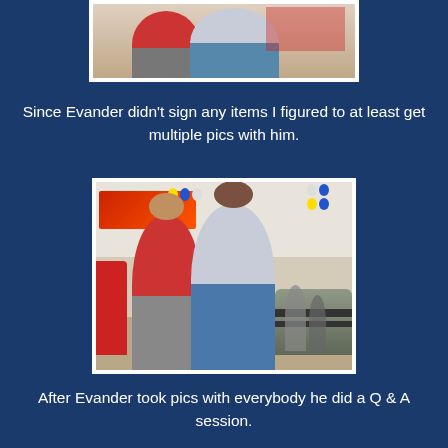[Figure (photo): Top portion of a photo showing two people posing together in a car dealership]
Since Evander didn't sign any items I figured to at least get multiple pics with him.
[Figure (photo): Photo of two men posing together inside a car dealership showroom with balloons and cars visible in the background. One man wearing a red jacket, the other in a plaid shirt.]
After Evander took pics with everybody he did a Q & A session.